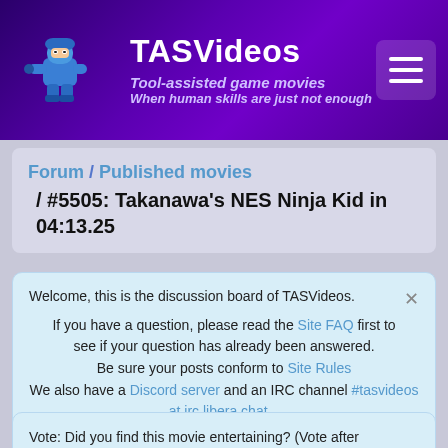TASVideos — Tool-assisted game movies — When human skills are just not enough
#5505: Takanawa's NES Ninja Kid in 04:13.25
Forum / Published movies / #5505: Takanawa's NES Ninja Kid in 04:13.25
Welcome, this is the discussion board of TASVideos. If you have a question, please read the Site FAQ first to see if your question has already been answered. Be sure your posts conform to Site Rules. We also have a Discord server and an IRC channel #tasvideos at irc.libera.chat...
Vote: Did you find this movie entertaining? (Vote after watching!)